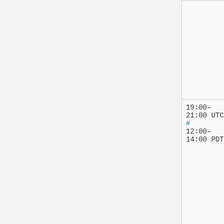| Time | Type | Person |
| --- | --- | --- |
|  |  | (
Sébastien
(Dereckson), c
(thcipriani) |
| 19:00–
21:00 UTC
#
12:00–
14:00 PDT | MediaWiki
train | Mukunda
(twentyafter... |
|  |  | addshore, Ant
(hashar), Brac... |